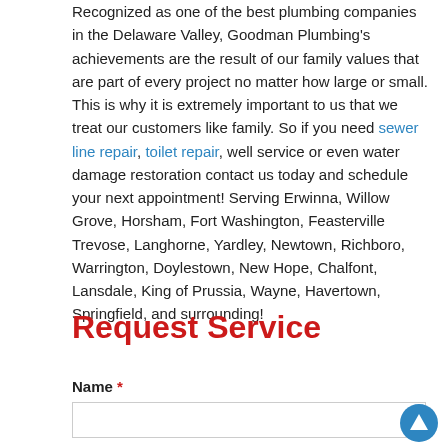Recognized as one of the best plumbing companies in the Delaware Valley, Goodman Plumbing's achievements are the result of our family values that are part of every project no matter how large or small. This is why it is extremely important to us that we treat our customers like family. So if you need sewer line repair, toilet repair, well service or even water damage restoration contact us today and schedule your next appointment! Serving Erwinna, Willow Grove, Horsham, Fort Washington, Feasterville Trevose, Langhorne, Yardley, Newtown, Richboro, Warrington, Doylestown, New Hope, Chalfont, Lansdale, King of Prussia, Wayne, Havertown, Springfield, and surrounding!
Request Service
Name *